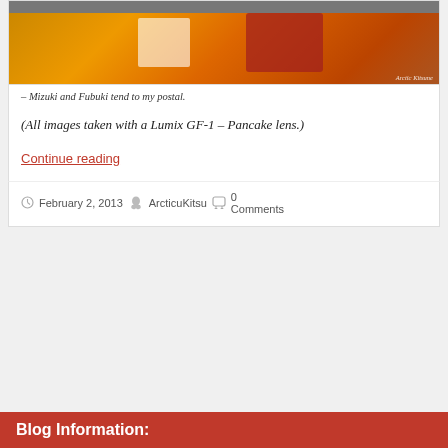[Figure (photo): Photo of anime figurines (Mizuki and Fubuki) in front of an orange Culture Japan box. Watermark reads 'Arctic Kitsune' in bottom right corner.]
– Mizuki and Fubuki tend to my postal.
(All images taken with a Lumix GF-1 – Pancake lens.)
Continue reading
February 2, 2013  ArcticuKitsu  0 Comments
Blog Information: